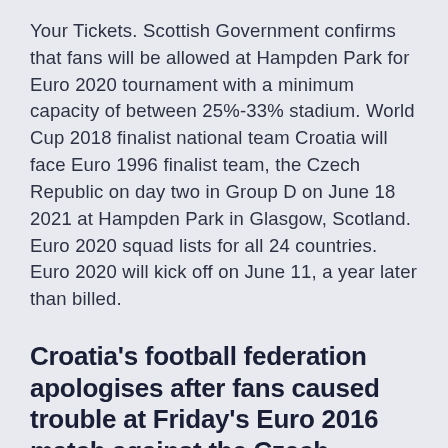Your Tickets. Scottish Government confirms that fans will be allowed at Hampden Park for Euro 2020 tournament with a minimum capacity of between 25%-33% stadium. World Cup 2018 finalist national team Croatia will face Euro 1996 finalist team, the Czech Republic on day two in Group D on June 18 2021 at Hampden Park in Glasgow, Scotland. Euro 2020 squad lists for all 24 countries. Euro 2020 will kick off on June 11, a year later than billed.
Croatia's football federation apologises after fans caused trouble at Friday's Euro 2016 match against the Czech Republic.